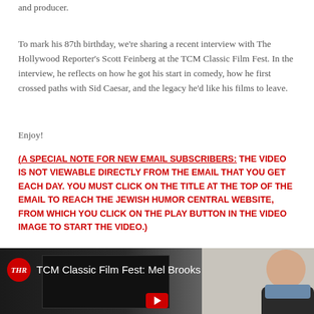and producer.
To mark his 87th birthday, we're sharing a recent interview with The Hollywood Reporter's Scott Feinberg at the TCM Classic Film Fest. In the interview, he reflects on how he got his start in comedy, how he first crossed paths with Sid Caesar, and the legacy he'd like his films to leave.
Enjoy!
(A SPECIAL NOTE FOR NEW EMAIL SUBSCRIBERS: THE VIDEO IS NOT VIEWABLE DIRECTLY FROM THE EMAIL THAT YOU GET EACH DAY. YOU MUST CLICK ON THE TITLE AT THE TOP OF THE EMAIL TO REACH THE JEWISH HUMOR CENTRAL WEBSITE, FROM WHICH YOU CLICK ON THE PLAY BUTTON IN THE VIDEO IMAGE TO START THE VIDEO.)
[Figure (screenshot): YouTube-style video thumbnail with THR (The Hollywood Reporter) red circle logo on the left, title 'TCM Classic Film Fest: Mel Brooks' in white text, dark background with a studio panel visible and an elderly man (Mel Brooks) on the right side. A red YouTube play button is visible at the bottom center.]